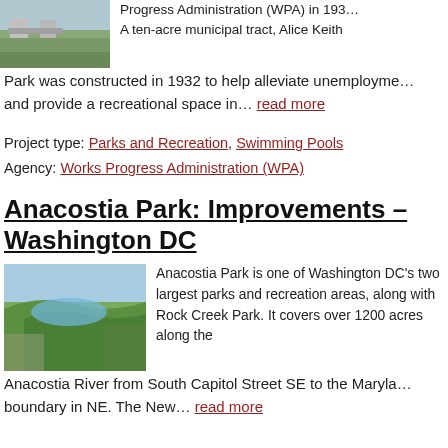[Figure (photo): Photo of a park structure with green grass and concrete pillars]
Progress Administration (WPA) in 193…
A ten-acre municipal tract, Alice Keith Park was constructed in 1932 to help alleviate unemployment and provide a recreational space in… read more
Project type: Parks and Recreation, Swimming Pools
Agency: Works Progress Administration (WPA)
Anacostia Park: Improvements – Washington DC
[Figure (photo): Aerial photo of Anacostia Park showing the river and green areas]
Anacostia Park is one of Washington DC's two largest parks and recreation areas, along with Rock Creek Park. It covers over 1200 acres along the Anacostia River from South Capitol Street SE to the Maryland boundary in NE. The New… read more